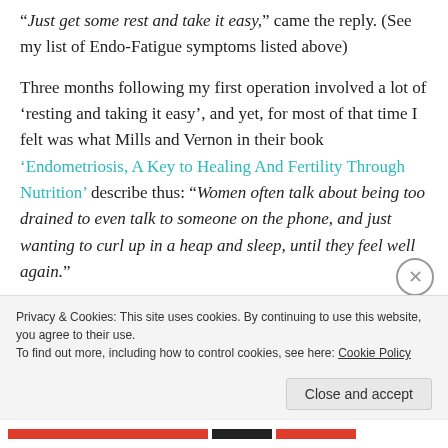“Just get some rest and take it easy,” came the reply. (See my list of Endo-Fatigue symptoms listed above)
Three months following my first operation involved a lot of ‘resting and taking it easy’, and yet, for most of that time I felt was what Mills and Vernon in their book ‘Endometriosis, A Key to Healing And Fertility Through Nutrition’ describe thus: “Women often talk about being too drained to even talk to someone on the phone, and just wanting to curl up in a heap and sleep, until they feel well again.”
Needless to say, I’ve looked for another doctor who
Privacy & Cookies: This site uses cookies. By continuing to use this website, you agree to their use.
To find out more, including how to control cookies, see here: Cookie Policy